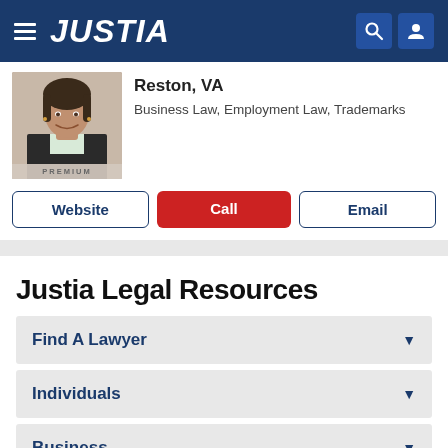JUSTIA
Reston, VA
Business Law, Employment Law, Trademarks
Website | Call | Email
Justia Legal Resources
Find A Lawyer
Individuals
Business
Law Students